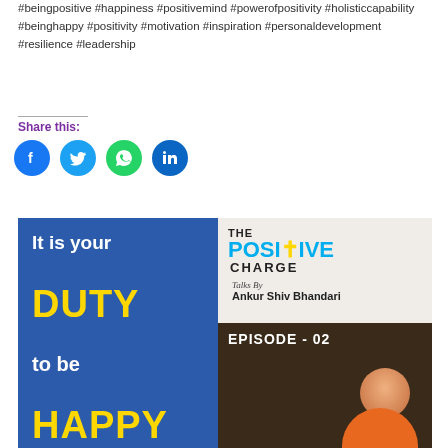#beingpositive #happiness #positivemind #powerofpositivity #holisticcapability #beinghappy #positivity #motivation #inspiration #personaldevelopment #resilience #leadership
Share this:
[Figure (illustration): Social sharing buttons: Facebook (blue circle), Twitter (light blue circle), WhatsApp (green circle), LinkedIn (dark blue circle)]
[Figure (photo): Thumbnail image for 'The Positive Charge' podcast/video. Left half: blue background with white bold text 'It is your' and yellow bold text 'DUTY', white text 'to be', yellow text 'HAPPY'. Right half: The Positive Charge logo with 'THE' in black, 'POSITIVE' in cyan with yellow cross, 'CHARGE' in black. Below logo: 'Talks By Ankur Shiv Bhandari'. Lower right: dark background with 'EPISODE - 02' and a man in orange shirt.]